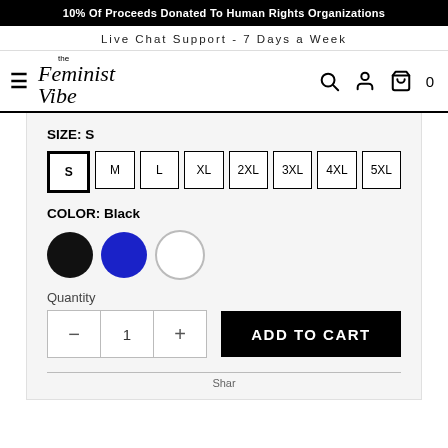10% Of Proceeds Donated To Human Rights Organizations
Live Chat Support - 7 Days a Week
[Figure (logo): The Feminist Vibe logo with hamburger menu, search, account, and cart icons]
SIZE: S
S  M  L  XL  2XL  3XL  4XL  5XL
COLOR: Black
Color swatches: Black (selected), Blue, White
Quantity
ADD TO CART